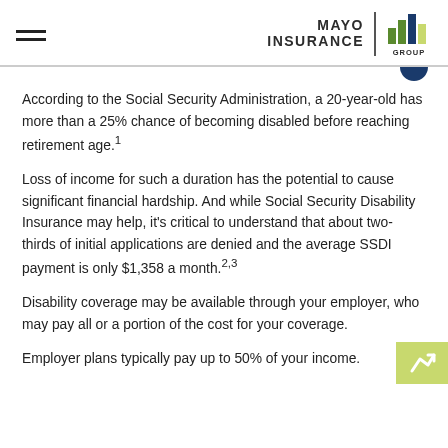MAYO INSURANCE GROUP
According to the Social Security Administration, a 20-year-old has more than a 25% chance of becoming disabled before reaching retirement age.¹
Loss of income for such a duration has the potential to cause significant financial hardship. And while Social Security Disability Insurance may help, it's critical to understand that about two-thirds of initial applications are denied and the average SSDI payment is only $1,358 a month.²,³
Disability coverage may be available through your employer, who may pay all or a portion of the cost for your coverage.
Employer plans typically pay up to 50% of your income.